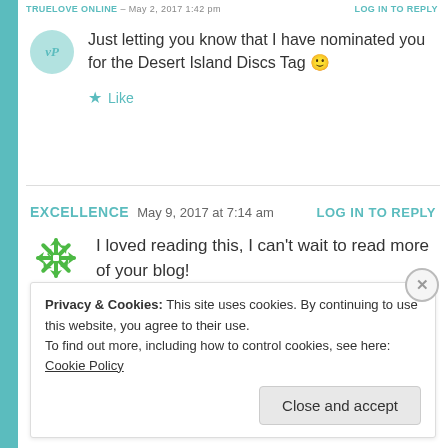TRUELOVE ONLINE – May 2, 2017 1:42 pm   LOG IN TO REPLY
Just letting you know that I have nominated you for the Desert Island Discs Tag 🙂
★ Like
EXCELLENCE   May 9, 2017 at 7:14 am   LOG IN TO REPLY
I loved reading this, I can't wait to read more of your blog!
★ Like
Privacy & Cookies: This site uses cookies. By continuing to use this website, you agree to their use.
To find out more, including how to control cookies, see here: Cookie Policy
Close and accept